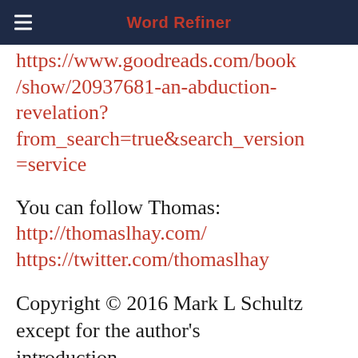Word Refiner
https://www.goodreads.com/book/show/20937681-an-abduction-revelation?from_search=true&search_version=service
You can follow Thomas:
http://thomaslhay.com/
https://twitter.com/thomaslhay
Copyright © 2016 Mark L Schultz except for the author's introduction